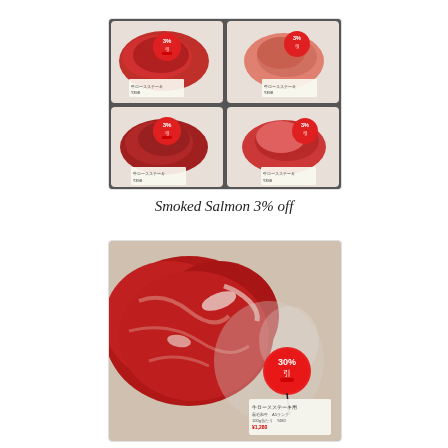[Figure (photo): Four plastic trays of sliced smoked salmon/fish in a supermarket display, each with a red circular discount sticker reading '3%引' (3% off) and a price label.]
Smoked Salmon 3% off
[Figure (photo): Close-up of raw red beef/meat cuts in a supermarket tray with a red circular discount sticker reading '30%引' (30% off) and a price label tag.]